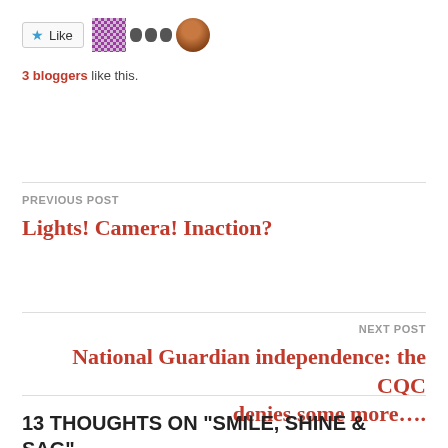[Figure (other): Like button with star icon, a purple mosaic avatar, two small grey icons, and a round photo avatar]
3 bloggers like this.
PREVIOUS POST
Lights! Camera! Inaction?
NEXT POST
National Guardian independence: the CQC denies some more....
13 THOUGHTS ON “SMILE, SHINE & SAG”